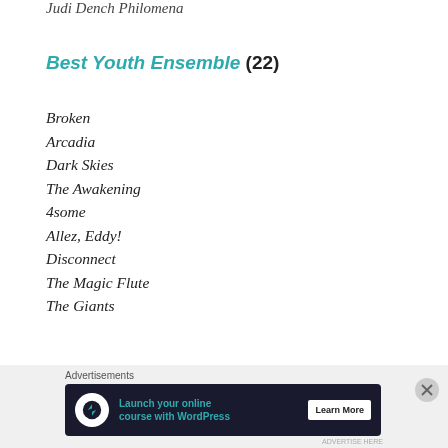Judi Dench Philomena
Best Youth Ensemble (22)
Broken
Arcadia
Dark Skies
The Awakening
4some
Allez, Eddy!
Disconnect
The Magic Flute
The Giants
[Figure (screenshot): Advertisement banner: Launch your online course with WordPress - Learn More]
Advertisements